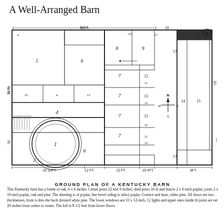A Well-Arranged Barn
[Figure (engineering-diagram): Ground plan of a Kentucky Barn showing floor layout with numbered rooms, stalls, circular threshing floor, compass rose, and dimension annotations including 52 ft width, 30 ft depth, 16 ft, 12 ft, 4 ft, 6 ft sections along the bottom.]
GROUND PLAN OF A KENTUCKY BARN
This Kentucky barn has a frame of oak, 6 x 6 inches. Center posts 23 feet 9 inches; shed posts 16 fe and braces 2 x 6-inch poplar; joists 2 x 10-inch poplar, oak and pine. The sheeting is of poplar, bee bevel siding is select poplar. Cornice and base, white pine. All doors are two thicknesses, front is dres the back dressed white pine. The lower windows are 10 x 12-inch, 12 lights and upper ones inside th joists are set 20 inches from center to center. The loft is 8-1/2 feet from lower floors.